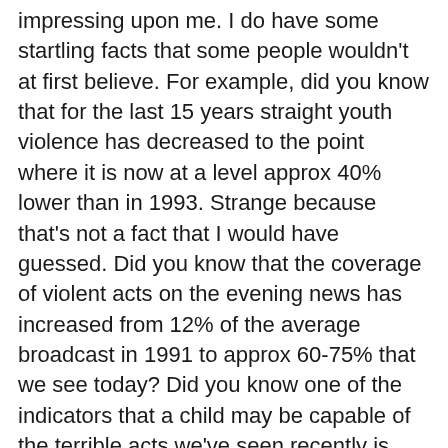impressing upon me. I do have some startling facts that some people wouldn't at first believe. For example, did you know that for the last 15 years straight youth violence has decreased to the point where it is now at a level approx 40% lower than in 1993. Strange because that's not a fact that I would have guessed. Did you know that the coverage of violent acts on the evening news has increased from 12% of the average broadcast in 1991 to approx 60-75% that we see today? Did you know one of the indicators that a child may be capable of the terrible acts we've seen recently is that they don't play video games (such as the person who enacted the violence at U of V). When I was a child I was violent, not a bully or anything like that but give me a stick and a bunch of glass pop bottles and I would quickly show you a hundred ways to make one hell of a mess. Same goes for those other children I grew up with, we caused some trouble and inflicted some degree of destruction upon the town we grew up in. I know one of us had a Atari at this time but the acts that we were violent in were not game related, they weren't music related, they weren't even related to TV. They were the imaginings of our own childish minds, those pop Bottles could become the boogy man in one second and